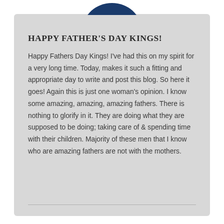[Figure (illustration): Dark blue semi-circle/arc shape at the top center of the card, partially cropped]
HAPPY FATHER'S DAY KINGS!
Happy Fathers Day Kings! I've had this on my spirit for a very long time. Today, makes it such a fitting and appropriate day to write and post this blog. So here it goes! Again this is just one woman's opinion. I know some amazing, amazing, amazing fathers. There is nothing to glorify in it. They are doing what they are supposed to be doing; taking care of & spending time with their children. Majority of these men that I know who are amazing fathers are not with the mothers.